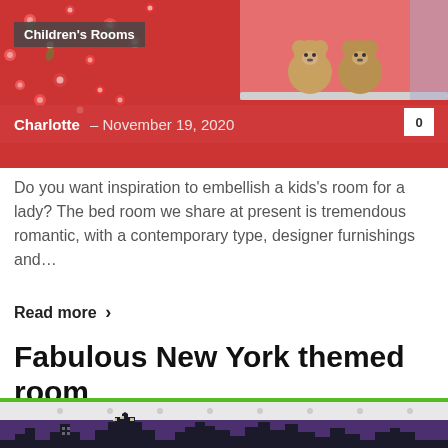[Figure (photo): Children's room with red floral wallpaper and teddy bears in the background]
Children's Rooms
Charlotte  –  November 19, 2020  0
Do you want inspiration to embellish a kids's room for a lady? The bed room we share at present is tremendous romantic, with a contemporary type, designer furnishings and...
Read more  >
Fabulous New York themed room
[Figure (photo): New York themed children's room with purple wall mural of city skyline silhouette and skyscrapers]